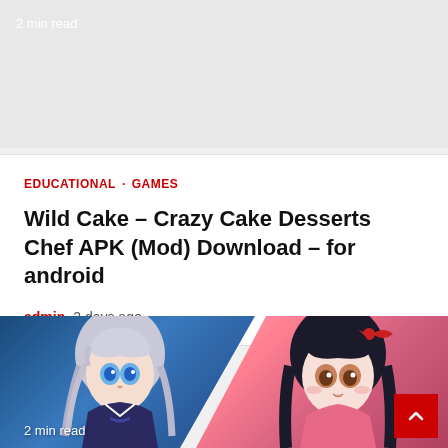2 min read
EDUCATIONAL · GAMES
Wild Cake – Crazy Cake Desserts Chef APK (Mod) Download – for android
admin  2 days ago
[Figure (illustration): Two anime-style characters side by side: left character has silver/white hair and blue eyes on a blue background, right character has dark hair with a red bow and brown eyes on a pink background.]
2 min read